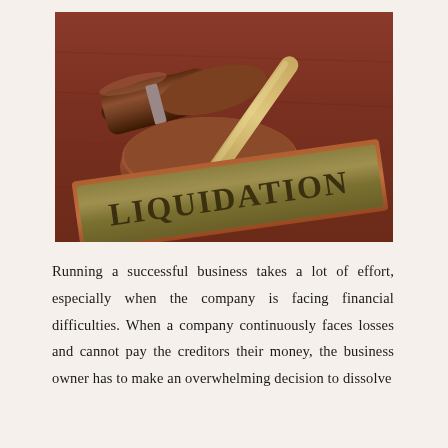[Figure (photo): A judge's gavel resting on a wooden sound block on a wooden surface, with a gold and copper-colored nameplate sign reading 'LIQUIDATION' in large bold serif letters in the foreground.]
Running a successful business takes a lot of effort, especially when the company is facing financial difficulties. When a company continuously faces losses and cannot pay the creditors their money, the business owner has to make an overwhelming decision to dissolve